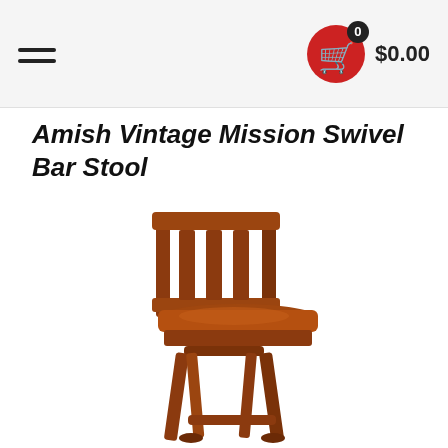0  $0.00
Amish Vintage Mission Swivel Bar Stool
[Figure (photo): Amish Vintage Mission Swivel Bar Stool — a wooden bar stool with a slatted back, contoured wooden seat, swivel base, and angled legs, shown in a rich reddish-brown finish on a white background.]